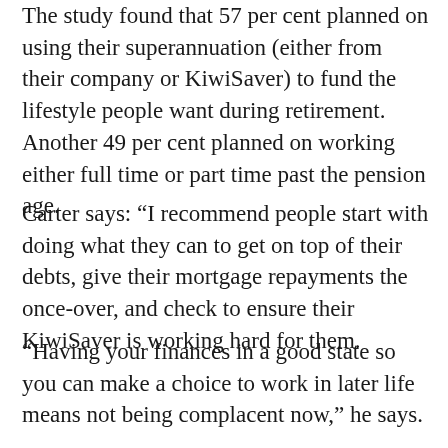The study found that 57 per cent planned on using their superannuation (either from their company or KiwiSaver) to fund the lifestyle people want during retirement. Another 49 per cent planned on working either full time or part time past the pension age.
Carter says: “I recommend people start with doing what they can to get on top of their debts, give their mortgage repayments the once-over, and check to ensure their KiwiSaver is working hard for them.
“Having your finances in a good state so you can make a choice to work in later life means not being complacent now,” he says.